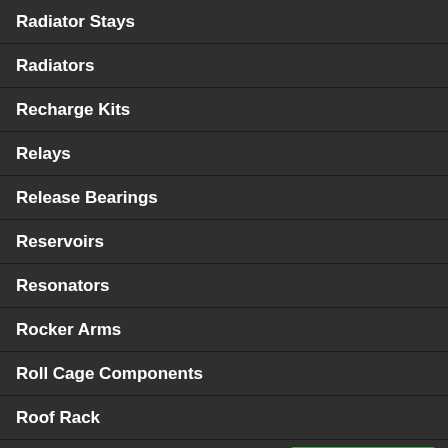Radiator Stays
Radiators
Recharge Kits
Relays
Release Bearings
Reservoirs
Resonators
Rocker Arms
Roll Cage Components
Roof Rack
Scoops & Snorkels